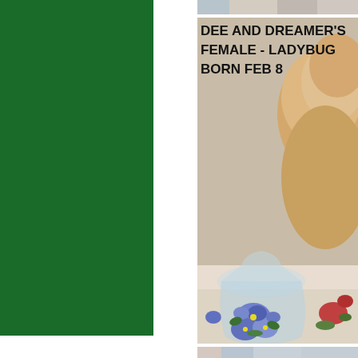[Figure (photo): Partial photo strip at the very top right, showing colorful fabric/floral pattern]
[Figure (photo): Photo of a light golden/apricot puppy (Ladybug) sitting near a glass vase with blue painted flowers on a floral tablecloth. Text overlay reads: DEE AND DREAMER'S FEMALE - LADYBUG BORN FEB 8]
[Figure (photo): Partial photo strip at the bottom right, showing colorful fabric/floral pattern]